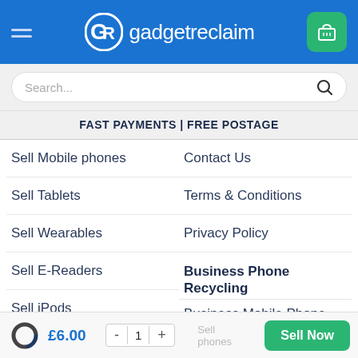gadgetreclaim
Search...
FAST PAYMENTS | FREE POSTAGE
Sell Mobile phones
Contact Us
Sell Tablets
Terms & Conditions
Sell Wearables
Privacy Policy
Sell E-Readers
Business Phone Recycling
Sell iPods
Business Mobile Phone Recycling
Sell Consoles
£6.00  -  1  +  Sell Now